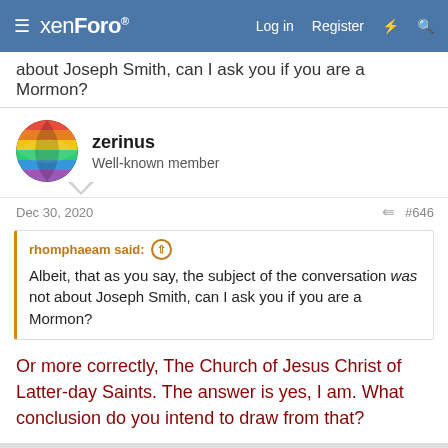xenForo — Log in  Register
about Joseph Smith, can I ask you if you are a Mormon?
zerinus
Well-known member
Dec 30, 2020   #646
rhomphaeam said: ↑
Albeit, that as you say, the subject of the conversation was not about Joseph Smith, can I ask you if you are a Mormon?
Or more correctly, The Church of Jesus Christ of Latter-day Saints. The answer is yes, I am. What conclusion do you intend to draw from that?
rhomphaeam
Super Member